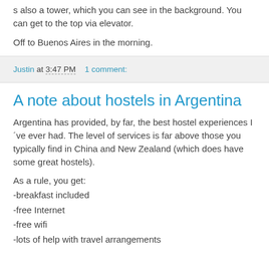s also a tower, which you can see in the background. You can get to the top via elevator.
Off to Buenos Aires in the morning.
Justin at 3:47 PM    1 comment:
A note about hostels in Argentina
Argentina has provided, by far, the best hostel experiences I´ve ever had. The level of services is far above those you typically find in China and New Zealand (which does have some great hostels).
As a rule, you get:
-breakfast included
-free Internet
-free wifi
-lots of help with travel arrangements